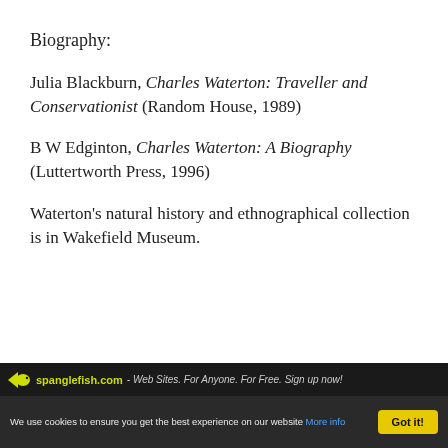Biography:
Julia Blackburn, Charles Waterton: Traveller and Conservationist (Random House, 1989)
B W Edginton, Charles Waterton: A Biography (Luttertworth Press, 1996)
Waterton's natural history and ethnographical collection is in Wakefield Museum.
spanglefish.com - Web Sites. For Anyone. For Free. Sign up now!
We use cookies to ensure you get the best experience on our website More info  Got it!